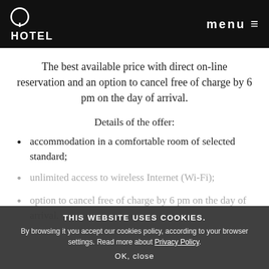Q HOTEL  menu
The best available price with direct on-line reservation and an option to cancel free of charge by 6 pm on the day of arrival.
Details of the offer:
accommodation in a comfortable room of selected standard;
unlimited access to wireless Internet (Wi-Fi);
option to cancel free of charge by 6 pm on the day of arrival.
THIS WEBSITE USES COOKIES. By browsing it you accept our cookies policy, according to your browser settings. Read more about Privacy Policy. OK, close